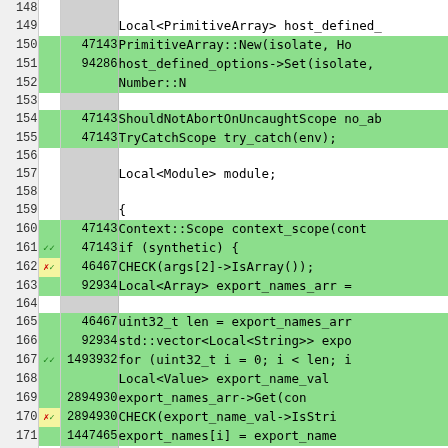[Figure (screenshot): Code coverage view showing C++ source lines 148-174 with line numbers, coverage markers (checkmarks/x marks), execution counts, and syntax-highlighted code on green/white/yellow backgrounds]